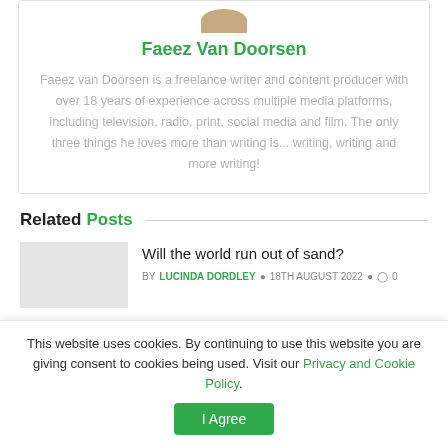Faeez Van Doorsen
Faeez van Doorsen is a freelance writer and content producer with over 18 years of experience across multiple media platforms, including television, radio, print, social media and film. The only three things he loves more than writing is... writing, writing and more writing!
Related Posts
Will the world run out of sand?
BY LUCINDA DORDLEY · 18TH AUGUST 2022 · 0
This website uses cookies. By continuing to use this website you are giving consent to cookies being used. Visit our Privacy and Cookie Policy.